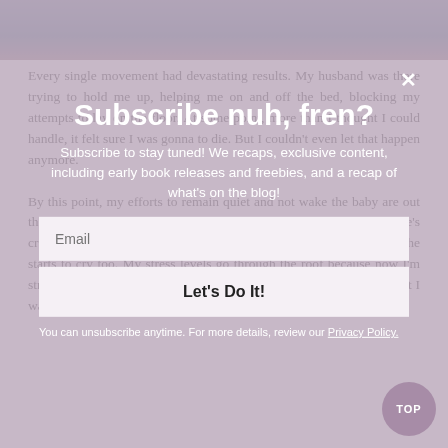[Figure (photo): Photo of a person, cropped at the top of the page]
Every single movement had devastating results. My husband was there trying to hold me up, helping me on and off the bed, blocking my attempts to lay on the floor. At some point, more than I thought I could handle, it felt sure I was gonna to die. But I couldn't even let that happen anymore.
Subscribe nuh, fren?
Subscribe to stay tuned! We recaps, exclusive content, including early book releases and freebies, and a recap of what's on the blog!
Email
Let's Do It!
By this point, my efforts to remain quiet and not wake the baby are out the window. She wakes up, is pissed off at being woken up (she's crabby when she wakes up now) and is stressed because I'm crying. She starts to cry too. My stress levels go through the roof because now I'm stressing my baby out and can't do anything because even as I thought I was dying, the pain was stiiiiilll increasing
You can unsubscribe anytime. For more details, review our Privacy Policy.